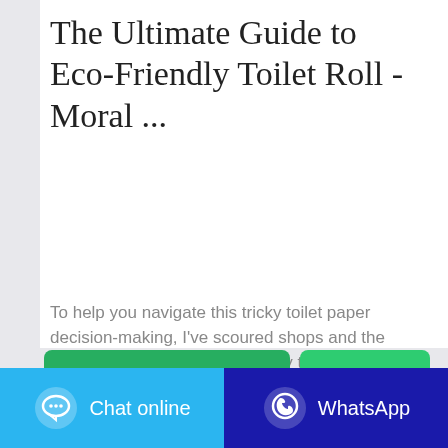The Ultimate Guide to Eco-Friendly Toilet Roll - Moral ...
To help you navigate this tricky toilet paper decision-making, I've scoured shops and the internet for as many eco-friendly toilet rolls I could find. I've then scored their eco-credentials. In fact, I've put together the ultimate spreadsheet, allowing you to quickly compare brands and chose a toilet ...